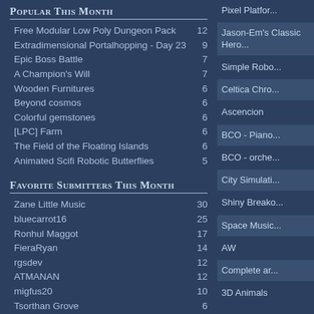Popular This Month
Free Modular Low Poly Dungeon Pack
Extradimensional Portalhopping - Day 23
Epic Boss Battle
A Champion's Will
Wooden Furnitures
Beyond cosmos
Colorful gemstones
[LPC] Farm
The Field of the Floating Islands
Animated Scifi Robotic Butterflies
Favorite Submitters This Month
Zane Little Music
bluecarrot16
Ronhul Maggot
FieraRyan
rgsdev
ATMANAN
migfus20
Tsorthan Grove
Alexandr Zhelanov
Pixel Platfor...
Jason-Em's Classic Hero...
Simple Robo...
Celtica Chro...
Ascencion
BCO - Piano...
BCO - orche...
City Simulati...
Shiny Breako...
Space Music...
AW
Complete ar...
3D Animals